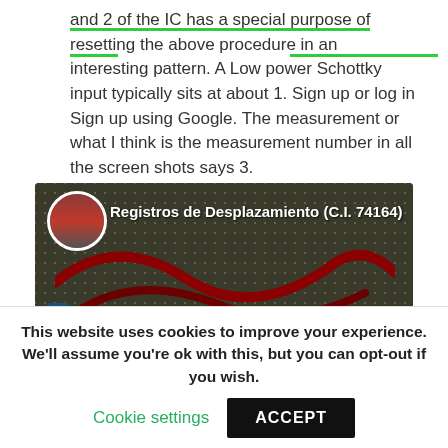and 2 of the IC has a special purpose of resetting the above procedure in an interesting pattern. A Low power Schottky input typically sits at about 1. Sign up or log in Sign up using Google. The measurement or what I think is the measurement number in all the screen shots says 3.
[Figure (screenshot): YouTube video thumbnail showing 'Registros de Desplazamiento (C.I. 74164)' with a breadboard background and a circular avatar of a person on the left.]
This website uses cookies to improve your experience. We'll assume you're ok with this, but you can opt-out if you wish.
Cookie settings   ACCEPT